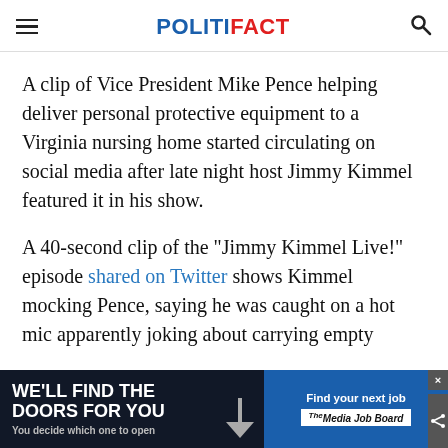POLITIFACT
A clip of Vice President Mike Pence helping deliver personal protective equipment to a Virginia nursing home started circulating on social media after late night host Jimmy Kimmel featured it in his show.
A 40-second clip of the "Jimmy Kimmel Live!" episode shared on Twitter shows Kimmel mocking Pence, saying he was caught on a hot mic apparently joking about carrying empty boxes
[Figure (other): Advertisement banner at bottom: left side dark background with 'WE'LL FIND THE DOORS FOR YOU / You decide which one to open', right side blue background with 'Find your next job / Media Job Board']